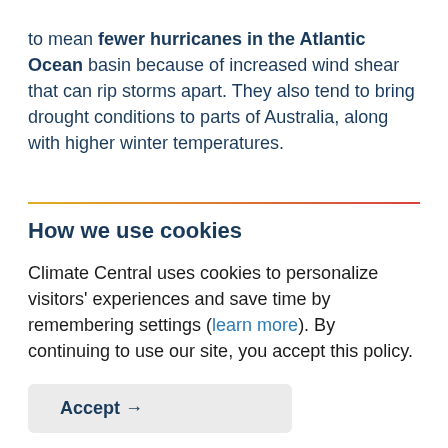to mean fewer hurricanes in the Atlantic Ocean basin because of increased wind shear that can rip storms apart. They also tend to bring drought conditions to parts of Australia, along with higher winter temperatures.
How we use cookies
Climate Central uses cookies to personalize visitors' experiences and save time by remembering settings (learn more). By continuing to use our site, you accept this policy.
Accept →